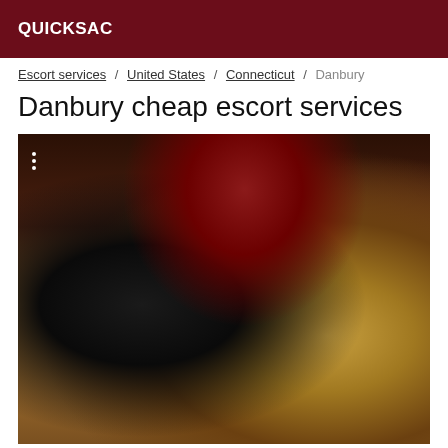QUICKSAC
Escort services / United States / Connecticut / Danbury
Danbury cheap escort services
[Figure (photo): A person with long red/dark hair wearing black clothing, photographed indoors with yellow cushions and a brick wall background.]